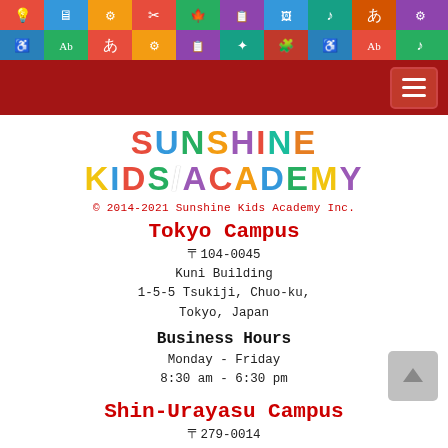[Figure (illustration): Colorful hexagonal icon banner with educational symbols]
[Figure (illustration): Dark red navigation bar with hamburger menu button]
[Figure (logo): Sunshine Kids Academy colorful letter logo]
© 2014-2021 Sunshine Kids Academy Inc.
Tokyo Campus
〒104-0045
Kuni Building
1-5-5 Tsukiji, Chuo-ku,
Tokyo, Japan
Business Hours
Monday - Friday
8:30 am - 6:30 pm
Shin-Urayasu Campus
〒279-0014
Doctor's Bay Bldg. C
Park City Tokyo Bay Shin-Urayasu Sol,
5-7-8 Akemi, U▒▒▒▒▒▒▒i, Chiba, Japan